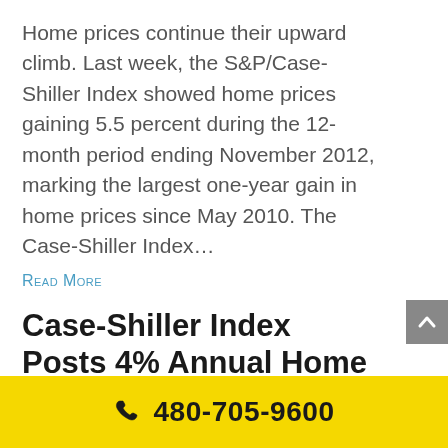Home prices continue their upward climb. Last week, the S&P/Case-Shiller Index showed home prices gaining 5.5 percent during the 12-month period ending November 2012, marking the largest one-year gain in home prices since May 2010. The Case-Shiller Index…
Read More
Case-Shiller Index Posts 4% Annual Home Price Gain
by Randy Courtney | Dec 27, 2012
480-705-9600